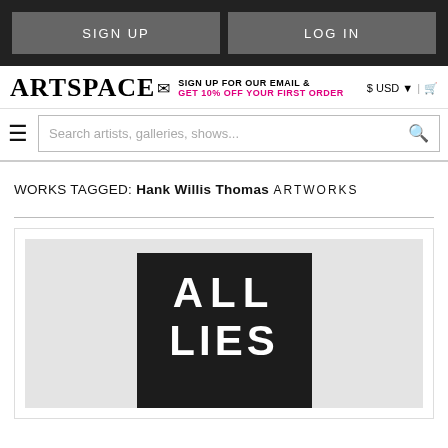SIGN UP | LOG IN
[Figure (logo): Artspace logo with envelope icon, email signup text, USD currency selector and cart icon]
Search artists, galleries, shows...
WORKS TAGGED: Hank Willis Thomas
ARTWORKS
[Figure (photo): Artwork image showing a black background with white bold text reading ALL LIES]